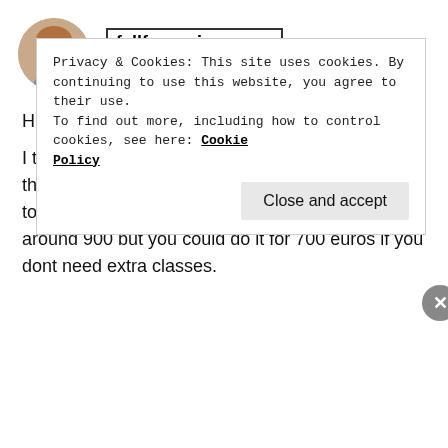[Figure (photo): Circular avatar photo of a young woman with long hair smiling, used as comment profile picture for user fallforspain]
fallforspain
MARCH 6, 2018 AT 6:52 PM
Hi Ana,
I took a few extra lessons that normally needed as the examers were on strike last summer so I had to wait a while for the exam… I'd say I spent around 900 but you could do it for 700 euros if you dont need extra classes.
Privacy & Cookies: This site uses cookies. By continuing to use this website, you agree to their use.
To find out more, including how to control cookies, see here: Cookie Policy